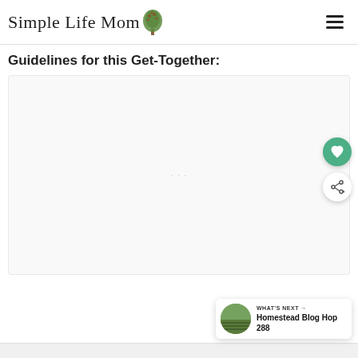Simple Life Mom
Guidelines for this Get-Together:
[Figure (other): Large white/light gray placeholder content area (advertisement or embedded content box) with faint dots in center]
[Figure (other): Floating green circular heart/favorite button on right side]
[Figure (other): Floating white circular share button on right side]
[Figure (other): What's Next card showing thumbnail of garden/homestead image with text: WHAT'S NEXT → Homestead Blog Hop 288]